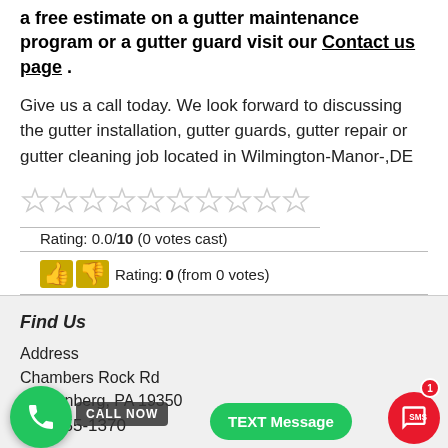a free estimate on a gutter maintenance program or a gutter guard visit our Contact us page .
Give us a call today. We look forward to discussing the gutter installation, gutter guards, gutter repair or gutter cleaning job located in Wilmington-Manor-,DE
[Figure (other): Ten empty star rating icons in a row, underlined]
Rating: 0.0/10 (0 votes cast)
Rating: 0 (from 0 votes) with thumbs up and thumbs down emoji icons
Find Us
Address
Chambers Rock Rd
Langenberg, PA 19350
610-255-1370
[Figure (other): Floating green phone call button with CALL NOW label, green TEXT Message button, red SMS chat bubble button with badge showing 1]